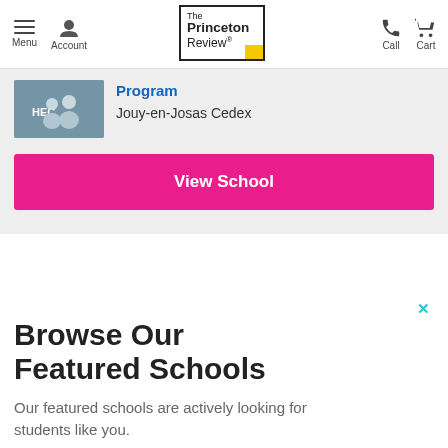Menu | Account | The Princeton Review | Call | Cart
Program
Jouy-en-Josas Cedex
View School
Browse Our Featured Schools
Our featured schools are actively looking for students like you.